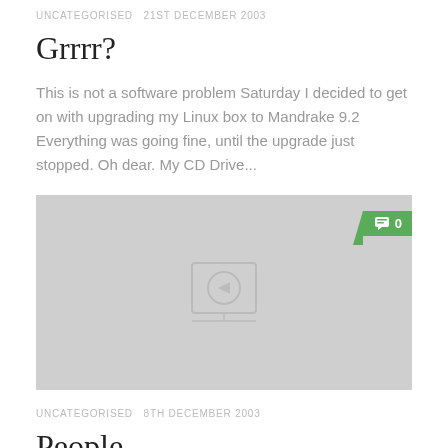UNCATEGORISED  21ST DECEMBER 2003
Grrrr?
This is not a software problem Saturday I decided to get on with upgrading my Linux box to Mandrake 9.2 Everything was going fine, until the upgrade just stopped. Oh dear. My CD Drive...
[Figure (photo): Gray placeholder image with a faint loading/image icon in the center. A green comment badge showing '0' with a speech bubble icon appears in the upper right corner.]
UNCATEGORISED  8TH DECEMBER 2003
People